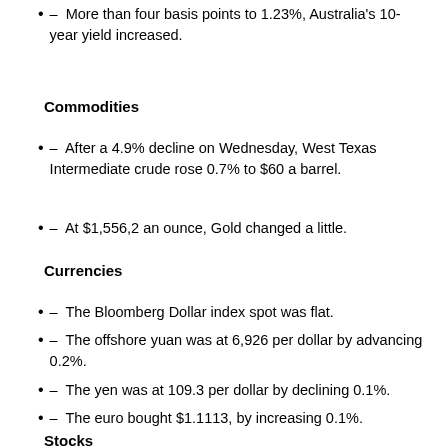– More than four basis points to 1.23%, Australia's 10-year yield increased.
Commodities
– After a 4.9% decline on Wednesday, West Texas Intermediate crude rose 0.7% to $60 a barrel.
– At $1,556,2 an ounce, Gold changed a little.
Currencies
– The Bloomberg Dollar index spot was flat.
– The offshore yuan was at 6,926 per dollar by advancing 0.2%.
– The yen was at 109.3 per dollar by declining 0.1%.
– The euro bought $1.1113, by increasing 0.1%.
Stocks